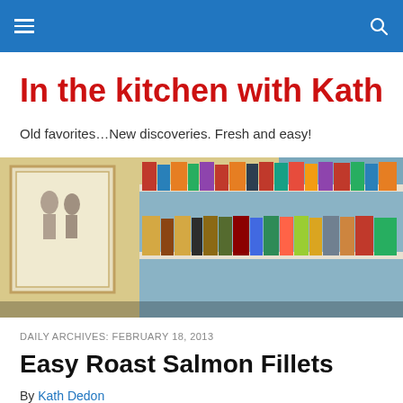In the kitchen with Kath — navigation header
In the kitchen with Kath
Old favorites…New discoveries. Fresh and easy!
[Figure (photo): Photo of bookshelves filled with colorful cookbooks and a framed black-and-white photograph on a yellow wall]
DAILY ARCHIVES: FEBRUARY 18, 2013
Easy Roast Salmon Fillets
By Kath Dedon
Christina Orchard has a fabulous recipe in Christina's